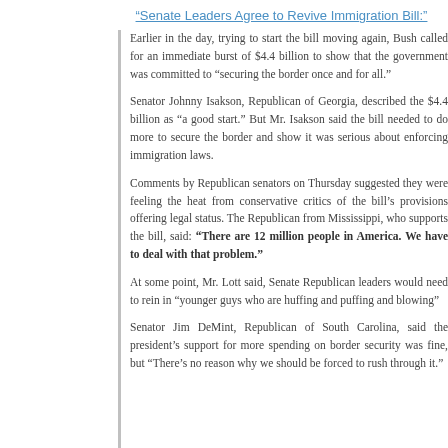"Senate Leaders Agree to Revive Immigration Bill:"
Earlier in the day, trying to start the bill moving again, Bush called for an immediate burst of $4.4 billion to show that the government was committed to “securing the border once and for all.”
Senator Johnny Isakson, Republican of Georgia, described the $4.4 billion as “a good start.” But Mr. Isakson said the bill needed to do more to secure the border and show it was serious about enforcing immigration laws.
Comments by Republican senators on Thursday suggested they were feeling the heat from conservative critics of the bill’s provisions offering legal status. The Republican from Mississippi, who supports the bill, said: “There are 12 million people in America. We have to deal with that problem.”
At some point, Mr. Lott said, Senate Republican leaders would need to rein in “younger guys who are huffing and puffing and blowing”
Senator Jim DeMint, Republican of South Carolina, said the president’s support for more spending on border security was fine, but “There’s no reason why we should be forced to rush through it.”